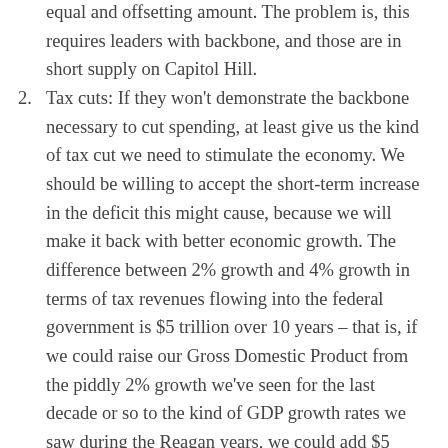equal and offsetting amount. The problem is, this requires leaders with backbone, and those are in short supply on Capitol Hill.
Tax cuts: If they won't demonstrate the backbone necessary to cut spending, at least give us the kind of tax cut we need to stimulate the economy. We should be willing to accept the short-term increase in the deficit this might cause, because we will make it back with better economic growth. The difference between 2% growth and 4% growth in terms of tax revenues flowing into the federal government is $5 trillion over 10 years – that is, if we could raise our Gross Domestic Product from the piddly 2% growth we've seen for the last decade or so to the kind of GDP growth rates we saw during the Reagan years, we could add $5 trillion to government coffers. That's $500 billion per year, which is ALMOST enough to balance the budget.
Revenue neutral tax reform: Even though this